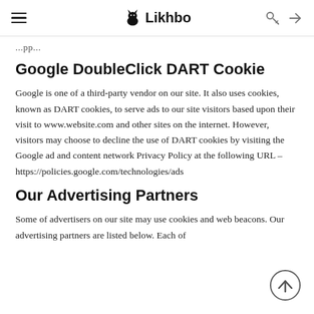Likhbo
...pp...
Google DoubleClick DART Cookie
Google is one of a third-party vendor on our site. It also uses cookies, known as DART cookies, to serve ads to our site visitors based upon their visit to www.website.com and other sites on the internet. However, visitors may choose to decline the use of DART cookies by visiting the Google ad and content network Privacy Policy at the following URL – https://policies.google.com/technologies/ads
Our Advertising Partners
Some of advertisers on our site may use cookies and web beacons. Our advertising partners are listed below. Each of